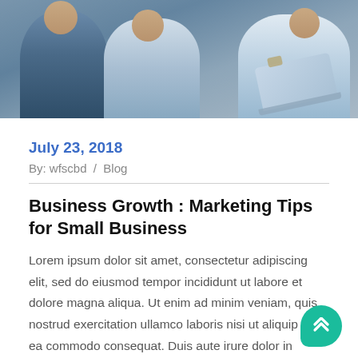[Figure (photo): Photo of business people collaborating, partially cropped at top of page, showing upper bodies with laptop]
July 23, 2018
By: wfscbd  /  Blog
Business Growth : Marketing Tips for Small Business
Lorem ipsum dolor sit amet, consectetur adipiscing elit, sed do eiusmod tempor incididunt ut labore et dolore magna aliqua. Ut enim ad minim veniam, quis nostrud exercitation ullamco laboris nisi ut aliquip ex ea commodo consequat. Duis aute irure dolor in reprehenderit in voluptate velit esse cillum